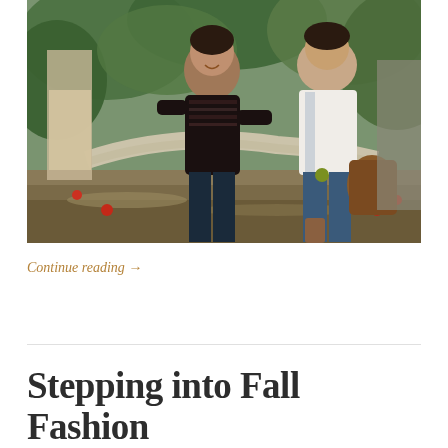[Figure (photo): Two women posing in an apple orchard. One woman in center wears a dark patterned sweater and jeans, leaning on a tree branch and smiling. Another woman on the right wears a white vest with jeans and boots, holding a bag. There is greenery and fallen apples on the ground.]
Continue reading →
Stepping into Fall Fashion